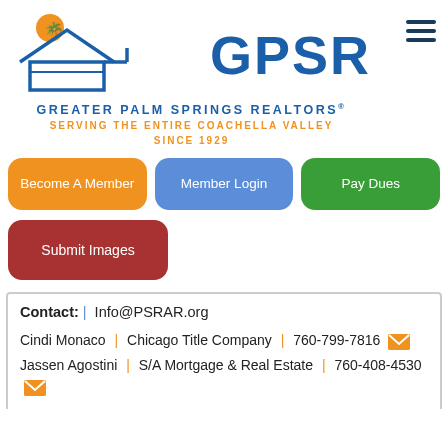[Figure (logo): Greater Palm Springs Realtors (GPSR) logo with house silhouette and orange sun, blue GPSR lettering, tagline 'SERVING THE ENTIRE COACHELLA VALLEY SINCE 1929']
Become A Member
Member Login
Pay Dues
Submit Images
Contact: | Info@PSRAR.org
Cindi Monaco | Chicago Title Company | 760-799-7816
Jassen Agostini | S/A Mortgage & Real Estate | 760-408-4530